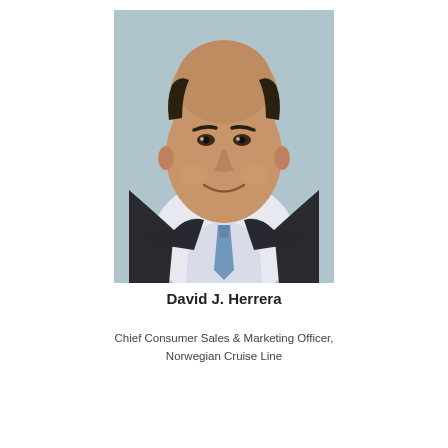[Figure (photo): Professional headshot of David J. Herrera, a bald man in a dark suit and light blue tie, smiling against a light grey background.]
David J. Herrera
Chief Consumer Sales & Marketing Officer, Norwegian Cruise Line